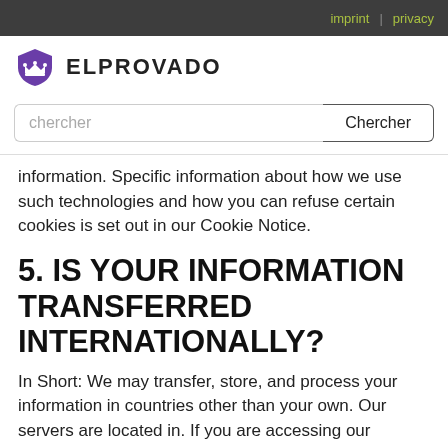imprint | privacy
[Figure (logo): ELPROVADO shield/crown logo with text ELPROVADO]
chercher [search input] Chercher [button]
information. Specific information about how we use such technologies and how you can refuse certain cookies is set out in our Cookie Notice.
5. IS YOUR INFORMATION TRANSFERRED INTERNATIONALLY?
In Short: We may transfer, store, and process your information in countries other than your own. Our servers are located in. If you are accessing our Website from outside, please be aware that your